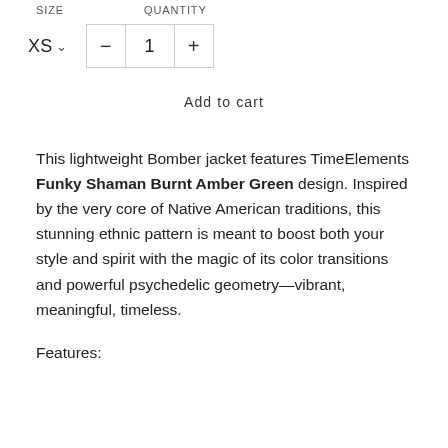SIZE    QUANTITY
XS ∨   −   1   +
Add to cart
This lightweight Bomber jacket features TimeElements Funky Shaman Burnt Amber Green design. Inspired by the very core of Native American traditions, this stunning ethnic pattern is meant to boost both your style and spirit with the magic of its color transitions and powerful psychedelic geometry—vibrant, meaningful, timeless.
Features: